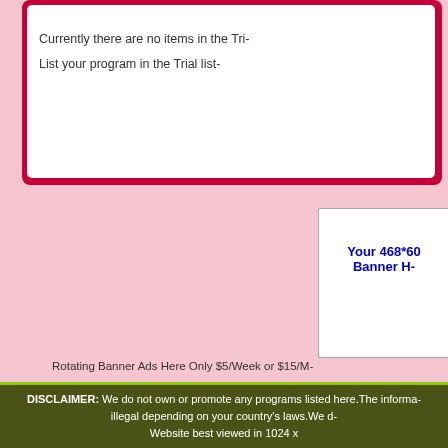Currently there are no items in the Trial list.
List your program in the Trial list
[Figure (other): Banner ad placeholder: Your 468*60 Banner Here]
Rotating Banner Ads Here Only $5/Week or $15/Month
Scam
Currently there are no items in the Scam list.
[Figure (other): Banner ad placeholder: Your 468*60 Banner Here]
Rotating Banner Ads Here Only $5/Week or $15/Month
DISCLAIMER: We do not own or promote any programs listed here. The information may be illegal depending on your country's laws. We do not own or promote any programs listed here. Website best viewed in 1024 x